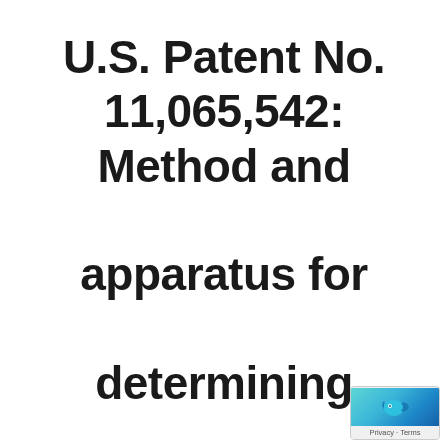U.S. Patent No. 11,065,542: Method and apparatus for determining user engagement in a videogame
[Figure (logo): Small privacy/terms badge icon in bottom-right corner showing a fish-like logo with teal/blue coloring and 'Privacy · Terms' text]